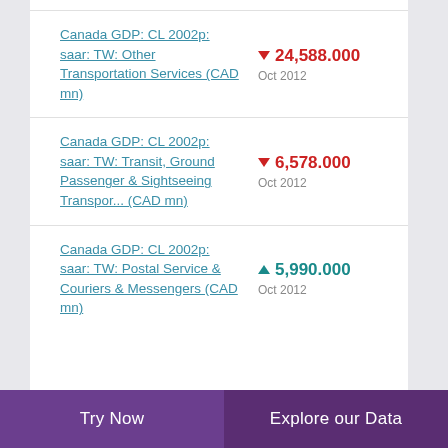Canada GDP: CL 2002p: saar: TW: Other Transportation Services (CAD mn)
Canada GDP: CL 2002p: saar: TW: Transit, Ground Passenger & Sightseeing Transpor... (CAD mn)
Canada GDP: CL 2002p: saar: TW: Postal Service & Couriers & Messengers (CAD mn)
Try Now   Explore our Data